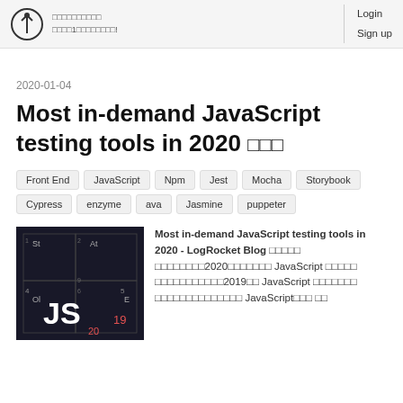Login  Sign up
2020-01-04
Most in-demand JavaScript testing tools in 2020 □□□
Front End
JavaScript
Npm
Jest
Mocha
Storybook
Cypress
enzyme
ava
Jasmine
puppeter
[Figure (screenshot): Dark background image showing JS logo with a periodic table style grid layout with labels St, At, Ol, E, 19, 20]
Most in-demand JavaScript testing tools in 2020 - LogRocket Blog □□□□□ □□□□□□□□2020□□□□□□□ JavaScript □□□□□ □□□□□□□□□□□2019□□ JavaScript □□□□□□□ □□□□□□□□□□□□□□ JavaScript□□□ □□